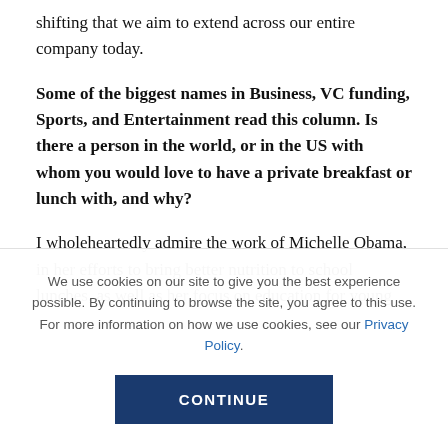shifting that we aim to extend across our entire company today.
Some of the biggest names in Business, VC funding, Sports, and Entertainment read this column. Is there a person in the world, or in the US with whom you would love to have a private breakfast or lunch with, and why?
I wholeheartedly admire the work of Michelle Obama, in her efforts to bring better nutrition to school lunches, as well as her focus on education for young
We use cookies on our site to give you the best experience possible. By continuing to browse the site, you agree to this use. For more information on how we use cookies, see our Privacy Policy.